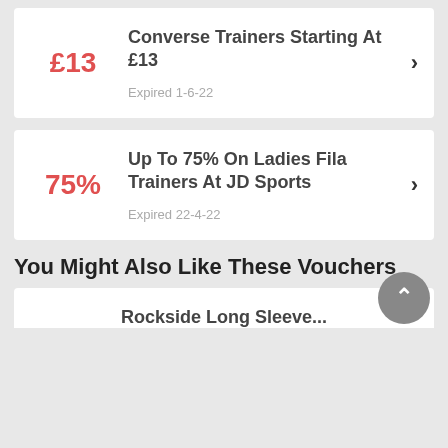£13 — Converse Trainers Starting At £13 — Expired 1-6-22
75% — Up To 75% On Ladies Fila Trainers At JD Sports — Expired 22-4-22
You Might Also Like These Vouchers
Rockside Long Sleeve...